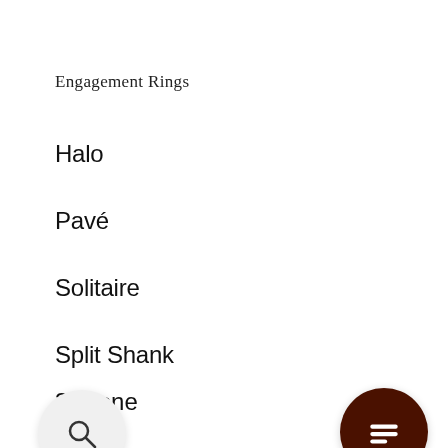Engagement Rings
Halo
Pavé
Solitaire
Split Shank
3 Stone
Fine Jewelry
…lets